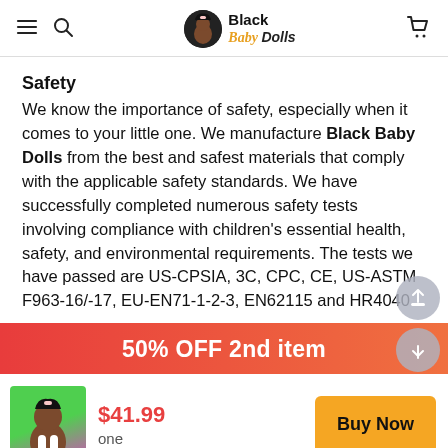Black Baby Dolls
Safety
We know the importance of safety, especially when it comes to your little one. We manufacture Black Baby Dolls from the best and safest materials that comply with the applicable safety standards. We have successfully completed numerous safety tests involving compliance with children's essential health, safety, and environmental requirements. The tests we have passed are US-CPSIA, 3C, CPC, CE, US-ASTM F963-16/-17, EU-EN71-1-2-3, EN62115 and HR4040.
50% OFF 2nd item
$41.99
one